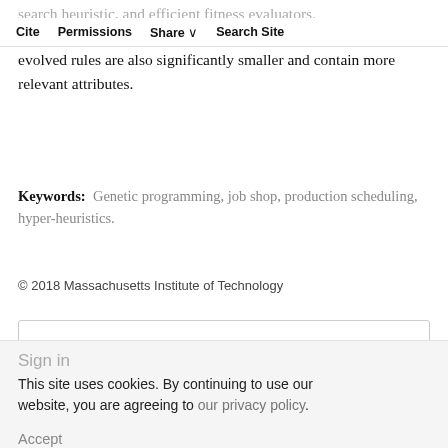Cite  Permissions  Share  Search Site
search heuristic, and efficient fitness evaluators. Experiments show that the new methods are effective regarding the quality of evolved rules. Moreover, evolved rules are also significantly smaller and contain more relevant attributes.
Keywords: Genetic programming, job shop, production scheduling, hyper-heuristics.
© 2018 Massachusetts Institute of Technology
You do not currently have access to this content.
Sign in
This site uses cookies. By continuing to use our website, you are agreeing to our privacy policy.
Accept